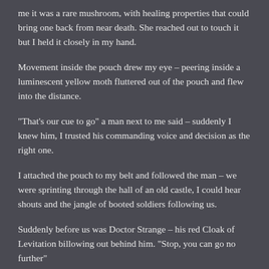me it was a rare mushroom, with healing properties that could bring one back from near death. She reached out to touch it but I held it closely in my hand.
Movement inside the pouch drew my eye – peering inside a luminescent yellow moth fluttered out of the pouch and flew into the distance.
“That’s our cue to go” a man next to me said – suddenly I knew him, I trusted his commanding voice and decision as the right one.
I attached the pouch to my belt and followed the man – we were sprinting through the hall of an old castle, I could hear shouts and the jangle of booted soldiers following us.
Suddenly before us was Doctor Strange – his red Cloak of Levitation billowing out behind him. “Stop, you can go no further”